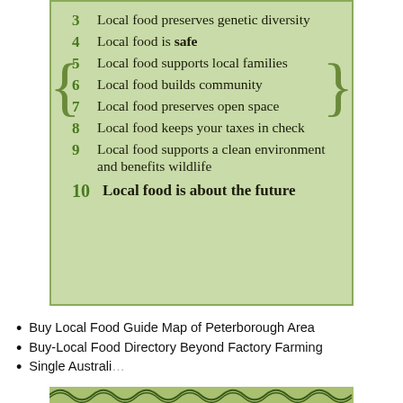3 Local food preserves genetic diversity
4 Local food is safe
5 Local food supports local families
6 Local food builds community
7 Local food preserves open space
8 Local food keeps your taxes in check
9 Local food supports a clean environment and benefits wildlife
10 Local food is about the future
Buy Local Food Guide Map of Peterborough Area
Buy-Local Food Directory Beyond Factory Farming
Single Australi... (text cut off)